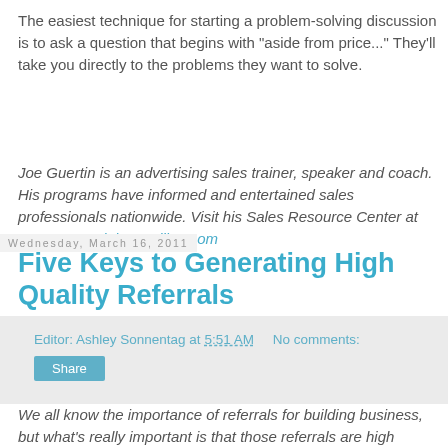The easiest technique for starting a problem-solving discussion is to ask a question that begins with "aside from price..." They'll take you directly to the problems they want to solve.
Joe Guertin is an advertising sales trainer, speaker and coach. His programs have informed and entertained sales professionals nationwide. Visit his Sales Resource Center at www.StreetFighterSelling.com
Editor: Ashley Sonnentag at 5:51 AM    No comments:
Share
Wednesday, March 16, 2011
Five Keys to Generating High Quality Referrals
We all know the importance of referrals for building business, but what's really important is that those referrals are high...